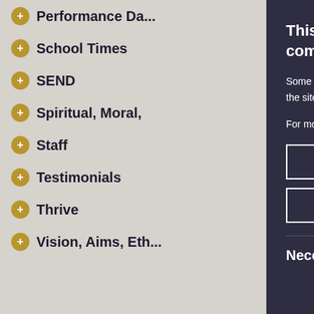Performance Da...
School Times
SEND
Spiritual, Moral,
Staff
Testimonials
Thrive
Vision, Aims, Eth...
[Figure (logo): High Performance Learning - World Class School logo]
[Figure (logo): Healthy Schools logo with star figure]
This site uses cookies to sto... information on your compute...
Some of these cookies are essential,... help us to improve your experience b... insights into how the site is being use...
For more information visit our Cookie...
I Accept Cookies
I Do Not Accept Cookies
Necessary Cookies